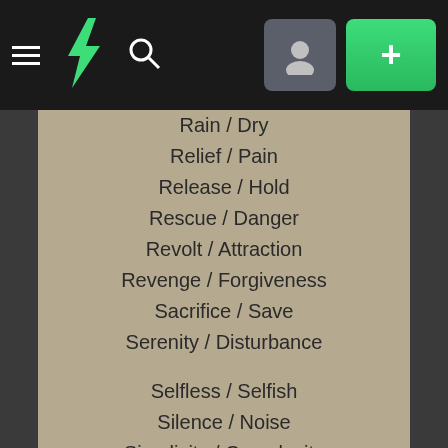DeviantArt navigation bar with hamburger menu, logo, search, profile, and add button
Rain / Dry
Relief / Pain
Release / Hold
Rescue / Danger
Revolt / Attraction
Revenge / Forgiveness
Sacrifice / Save
Serenity / Disturbance
Selfless / Selfish
Silence / Noise
Simplicity / Complexity
Technological/Rustic
Temptation/Resistance
Tradition / Change
Trapped / Escaped
Trust  / Fear
Urban/Rural
Victim/Assailant
Victory / Defeat
Vulnerability / Immunity
War / Peace
Wisdom / Ignorance
Blood